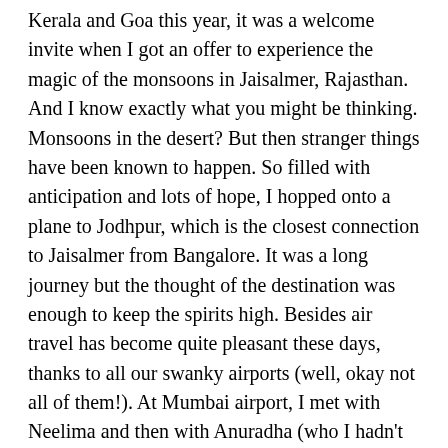Kerala and Goa this year, it was a welcome invite when I got an offer to experience the magic of the monsoons in Jaisalmer, Rajasthan. And I know exactly what you might be thinking. Monsoons in the desert? But then stranger things have been known to happen. So filled with anticipation and lots of hope, I hopped onto a plane to Jodhpur, which is the closest connection to Jaisalmer from Bangalore. It was a long journey but the thought of the destination was enough to keep the spirits high. Besides air travel has become quite pleasant these days, thanks to all our swanky airports (well, okay not all of them!). At Mumbai airport, I met with Neelima and then with Anuradha (who I hadn't met for years) and we killed some time chatting and catching up. After a short wait, it was time to board the flight to Jodhpur. A couple of hours later, we finally touched down in Jodhpur and our welcome party was there outside ...